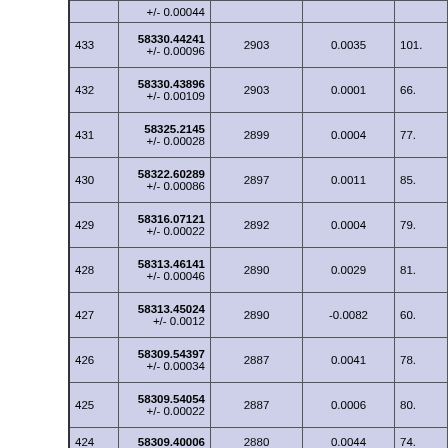|  | Row# | Value (+/- err) | Col3 | Col4 | Col5 |
| --- | --- | --- | --- | --- | --- |
| (partial) |  | +/- 0.00044 |  |  |  |
| 433 | 58330.44241 | +/- 0.00096 | 2903 | 0.0035 | 101... |
| 432 | 58330.43896 | +/- 0.00109 | 2903 | 0.0001 | 66... |
| 431 | 58325.2145 | +/- 0.00028 | 2899 | 0.0004 | 77... |
| 430 | 58322.60289 | +/- 0.00086 | 2897 | 0.0011 | 85... |
| 429 | 58316.07121 | +/- 0.00022 | 2892 | 0.0004 | 79... |
| 428 | 58313.46141 | +/- 0.00046 | 2890 | 0.0029 | 81... |
| 427 | 58313.45024 | +/- 0.0012 | 2890 | -0.0082 | 60... |
| 426 | 58309.54397 | +/- 0.00034 | 2887 | 0.0041 | 78... |
| 425 | 58309.54054 | +/- 0.00022 | 2887 | 0.0006 | 80... |
| 424 | 58309.40006 (partial) | 2880 | 0.0044 | 74... |